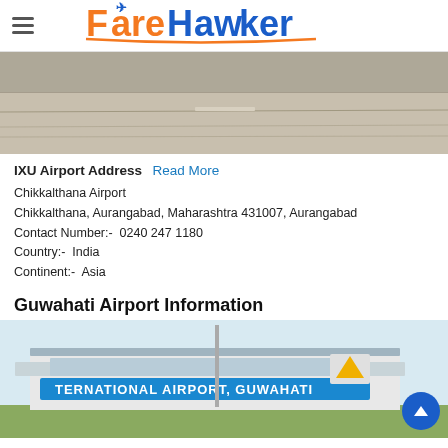FareHawker
[Figure (photo): Aerial view of airport runway, light brown/grey tarmac]
IXU Airport Address Read More
Chikkalthana Airport
Chikkalthana, Aurangabad, Maharashtra 431007, Aurangabad
Contact Number:-  0240 247 1180
Country:-  India
Continent:-  Asia
Guwahati Airport Information
[Figure (photo): Guwahati International Airport building exterior with sign reading INTERNATIONAL AIRPORT, GUWAHATI]